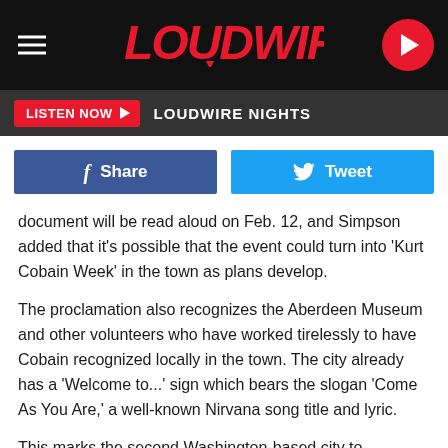[Figure (logo): Loudwire website header with hamburger menu icon on left, Loudwire logo in red italic text center, and red circular play button on right, all on black background]
LISTEN NOW ▶  LOUDWIRE NIGHTS
[Figure (infographic): Social sharing buttons: blue Facebook Share button on left, cyan Twitter Tweet button on right]
document will be read aloud on Feb. 12, and Simpson added that it's possible that the event could turn into 'Kurt Cobain Week' in the town as plans develop.
The proclamation also recognizes the Aberdeen Museum and other volunteers who have worked tirelessly to have Cobain recognized locally in the town. The city already has a 'Welcome to...' sign which bears the slogan 'Come As You Are,' a well-known Nirvana song title and lyric.
This marks the second Washington-based city to announce